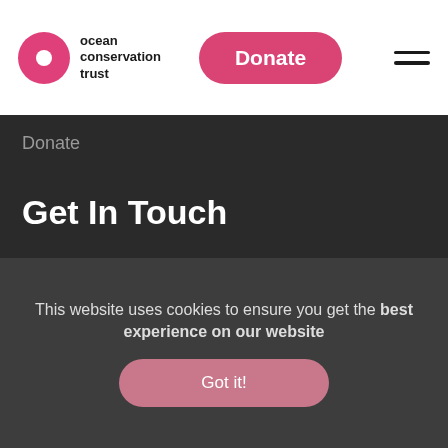ocean conservation trust — Donate (button) — hamburger menu
Donate
Get In Touch
info@oceanconservationtrust.org
Ocean Conservation Trust
Rope Walk
Coxside
This website uses cookies to ensure you get the best experience on our website
Got it!